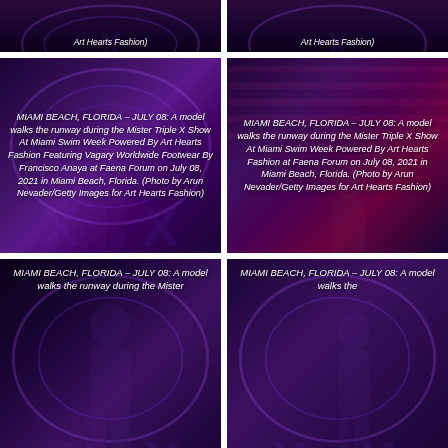[Figure (photo): Top-left partial photo: model at Mister Triple X Show, Art Hearts Fashion, italic caption text overlay]
[Figure (photo): Top-right partial photo: model at Mister Triple X Show, Art Hearts Fashion, italic caption text overlay]
[Figure (photo): Middle-left photo: female model on purple runway, full caption: MIAMI BEACH, FLORIDA – JULY 08: A model walks the runway during the Mister Triple X Show At Miami Swim Week Powered By Art Hearts Fashion Featuring Vagary Worldwide Footwear By Francisco Anaya at Faena Forum on July 08, 2021 in Miami Beach, Florida. (Photo by Arun Nevader/Getty Images for Art Hearts Fashion)]
[Figure (photo): Middle-right photo: female model on purple/pink runway, full caption: MIAMI BEACH, FLORIDA – JULY 08: A model walks the runway during the Mister Triple X Show At Miami Swim Week Powered By Art Hearts Fashion at Faena Forum on July 08, 2021 in Miami Beach, Florida. (Photo by Arun Nevader/Getty Images for Art Hearts Fashion)]
[Figure (photo): Bottom-left partial photo: male model on runway, partial caption: MIAMI BEACH, FLORIDA – JULY 08: A model walks the runway during the Mister]
[Figure (photo): Bottom-right partial photo: female model on purple runway, partial caption: MIAMI BEACH, FLORIDA – JULY 08: A model walks the]